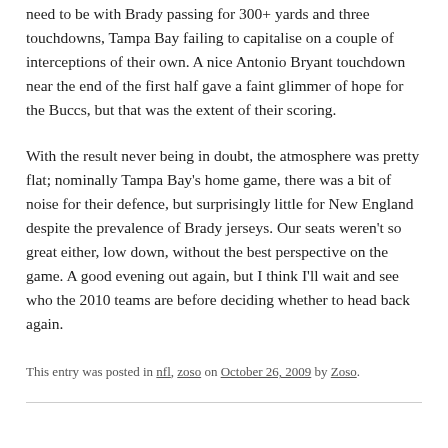need to be with Brady passing for 300+ yards and three touchdowns, Tampa Bay failing to capitalise on a couple of interceptions of their own. A nice Antonio Bryant touchdown near the end of the first half gave a faint glimmer of hope for the Buccs, but that was the extent of their scoring.
With the result never being in doubt, the atmosphere was pretty flat; nominally Tampa Bay's home game, there was a bit of noise for their defence, but surprisingly little for New England despite the prevalence of Brady jerseys. Our seats weren't so great either, low down, without the best perspective on the game. A good evening out again, but I think I'll wait and see who the 2010 teams are before deciding whether to head back again.
This entry was posted in nfl, zoso on October 26, 2009 by Zoso.